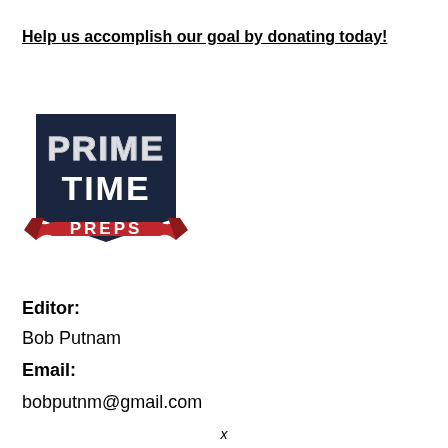Help us accomplish our goal by donating today!
[Figure (logo): Prime Time Preps logo — dark navy badge with checkered/dotted text 'PRIME TIME' and red ribbon banner at the bottom reading 'PREPS']
Editor:
Bob Putnam
Email:
bobputnm@gmail.com
x